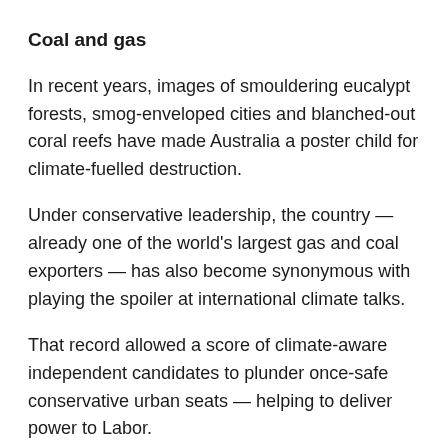Coal and gas
In recent years, images of smouldering eucalypt forests, smog-enveloped cities and blanched-out coral reefs have made Australia a poster child for climate-fuelled destruction.
Under conservative leadership, the country — already one of the world's largest gas and coal exporters — has also become synonymous with playing the spoiler at international climate talks.
That record allowed a score of climate-aware independent candidates to plunder once-safe conservative urban seats — helping to deliver power to Labor.
It is still unclear whether Albanese's Labor Party will win enough parliamentary seats to form an outright majority, or